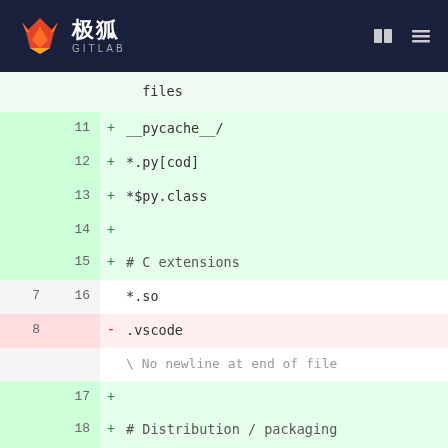[Figure (screenshot): GitLab (极狐 GITLAB) navigation bar with fox logo, Chinese text, and menu icons on dark navy background]
Diff view of a .gitignore file showing added lines (green, lines 11-27) and a removed line (line 8, red). Added lines include __pycache__/, *.py[cod], *$py.class, # C extensions, *.so, # Distribution / packaging, .Python, build/, develop-eggs/, dist/, downloads/, eggs/, .eggs/, lib/, lib64/. Removed line: .vscode. Also shows 'No newline at end of file'.